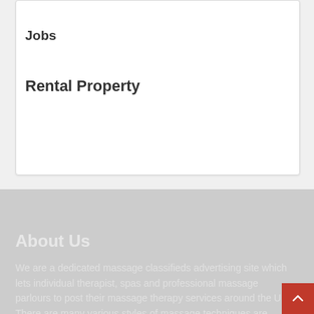Jobs
Rental Property
About Us
We are a dedicated massage classifieds advertising site which lets individual therapist, spas and professional massage parlours to post their massage therapy services around the UK. There are many various styles of massage techniques are highlighted in our blog, with a few to mention: Thai, Body, Pregnancy, Swedish, Foot, Back, Indian Head, Holistic, Lomi Lomi, Sports, Sensual, Erotic, Nuru, Tantric, Prostate, Lingam, Slippery, Naturist, Nud...